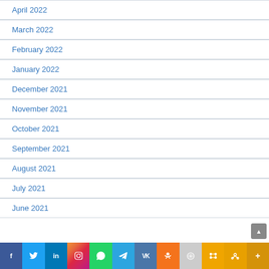April 2022
March 2022
February 2022
January 2022
December 2021
November 2021
October 2021
September 2021
August 2021
July 2021
June 2021
f  Twitter  in  Instagram  WhatsApp  Telegram  VK  OK  [pen]  [group]  [link]  More